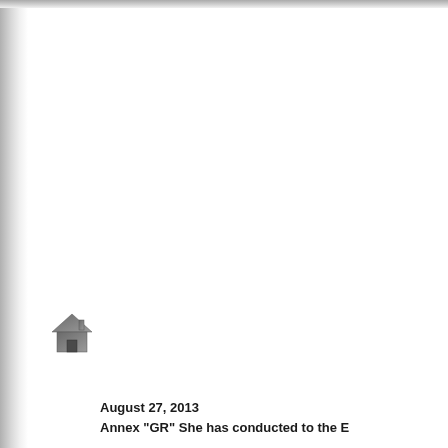[Figure (illustration): Home/house icon in dark grey, rendered as a small graphic symbol]
August 27, 2013
Annex "GR" She has conducted to the E...